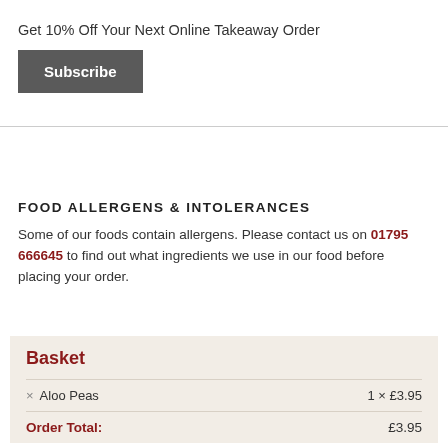×
Get 10% Off Your Next Online Takeaway Order
Subscribe
FOOD ALLERGENS & INTOLERANCES
Some of our foods contain allergens. Please contact us on 01795 666645 to find out what ingredients we use in our food before placing your order.
Basket
| Item | Qty × Price |
| --- | --- |
| Aloo Peas | 1 × £3.95 |
| Order Total: | £3.95 |